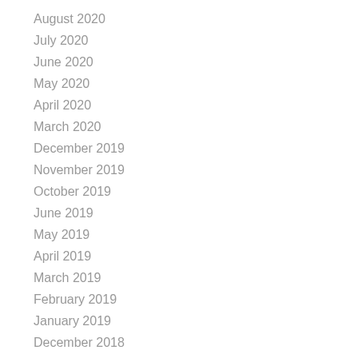August 2020
July 2020
June 2020
May 2020
April 2020
March 2020
December 2019
November 2019
October 2019
June 2019
May 2019
April 2019
March 2019
February 2019
January 2019
December 2018